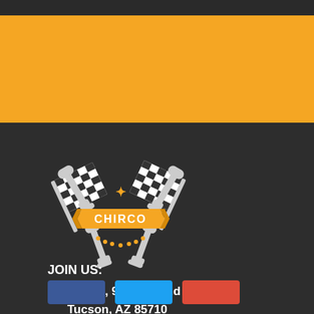[Figure (logo): Chirco auto repair shop logo with crossed wrenches and checkered racing flags, yellow banner with CHIRCO text]
Chirco, 9101 E 22nd St
Tucson, AZ 85710
800-955-9795
Mon - Fri: 8:00 AM to 6:00 PM
Sat: 10:00 AM to 3:00 PM
JOIN US: